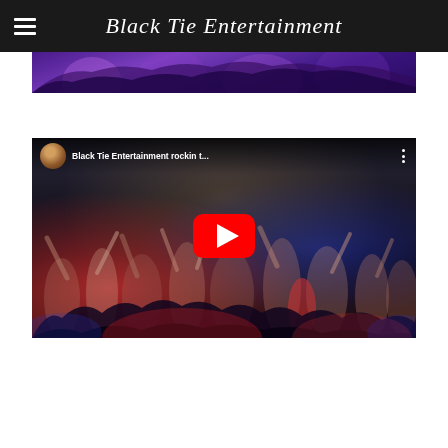Black Tie Entertainment
[Figure (photo): Purple-lit crowd/dance scene photo, partially visible at top of page]
[Figure (screenshot): YouTube video embed thumbnail showing 'Black Tie Entertainment rockin t...' with a crowd of people dancing, red YouTube play button in center, dark venue with colored lighting]